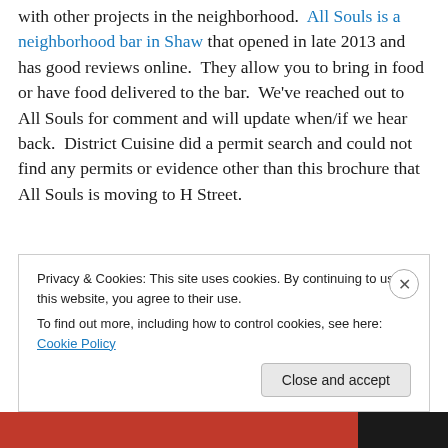with other projects in the neighborhood. All Souls is a neighborhood bar in Shaw that opened in late 2013 and has good reviews online. They allow you to bring in food or have food delivered to the bar. We've reached out to All Souls for comment and will update when/if we hear back. District Cuisine did a permit search and could not find any permits or evidence other than this brochure that All Souls is moving to H Street.
Privacy & Cookies: This site uses cookies. By continuing to use this website, you agree to their use. To find out more, including how to control cookies, see here: Cookie Policy